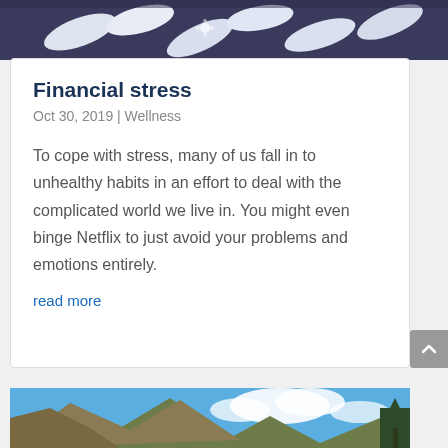[Figure (photo): Partial view of pills/medication on a dark background, top of page]
Financial stress
Oct 30, 2019 | Wellness
To cope with stress, many of us fall in to unhealthy habits in an effort to deal with the complicated world we live in. You might even binge Netflix to just avoid your problems and emotions entirely.
read more
[Figure (photo): Partial view of mountain landscape with blue sky and clouds, bottom of page]